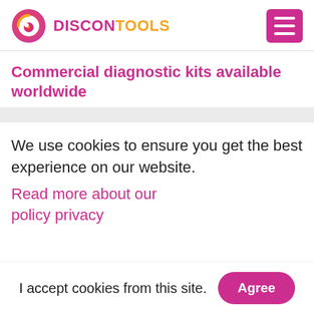[Figure (logo): DisconTools logo with circular gradient icon (pink/orange/red swirl) and text 'DISCONTOOLS' in purple-pink and orange]
Commercial diagnostic kits available worldwide
We use cookies to ensure you get the best experience on our website. Read more about our policy privacy
I accept cookies from this site.
Agree